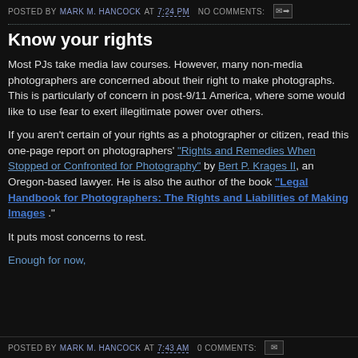POSTED BY MARK M. HANCOCK AT 7:24 PM  NO COMMENTS:
Know your rights
Most PJs take media law courses. However, many non-media photographers are concerned about their right to make photographs. This is particularly of concern in post-9/11 America, where some would like to use fear to exert illegitimate power over others.
If you aren't certain of your rights as a photographer or citizen, read this one-page report on photographers' "Rights and Remedies When Stopped or Confronted for Photography" by Bert P. Krages II, an Oregon-based lawyer. He is also the author of the book "Legal Handbook for Photographers: The Rights and Liabilities of Making Images".
It puts most concerns to rest.
Enough for now,
POSTED BY MARK M. HANCOCK AT 7:43 AM  0 COMMENTS: